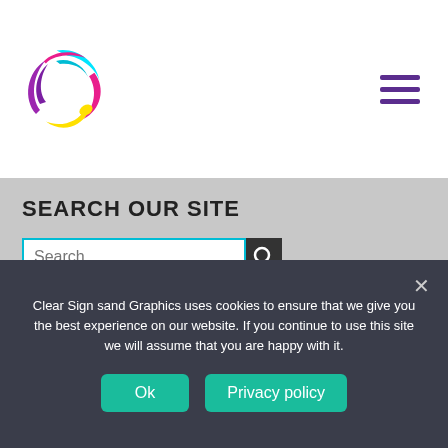[Figure (logo): Colorful circular logo with cyan, magenta/red, yellow, and purple colors forming a swirl or letter C shape]
SEARCH OUR SITE
Search …
ABOUT US
Based in Verwood we design and create stand out designs within the Sign Making and Vehicle Graphics Industry in and around Dorset,
Clear Sign sand Graphics uses cookies to ensure that we give you the best experience on our website. If you continue to use this site we will assume that you are happy with it.
Ok
Privacy policy